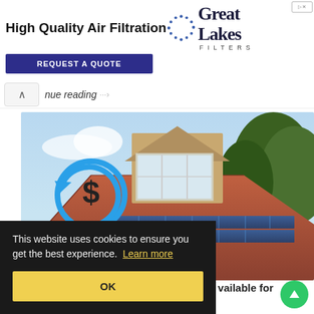[Figure (screenshot): Advertisement banner for Great Lakes Filters showing 'High Quality Air Filtration' text on left and Great Lakes Filters logo with dotted circle graphic on right, with dark blue REQUEST A QUOTE button below]
nue reading
[Figure (photo): Photo of house rooftop with red/terracotta metal roof, solar panels installed on roof, dormer window with white trim and multiple pane windows, trees in background with blue sky, overlaid with blue circular dollar-sign refresh/cashback icon on left side]
This website uses cookies to ensure you get the best experience. Learn more
OK
vailable for